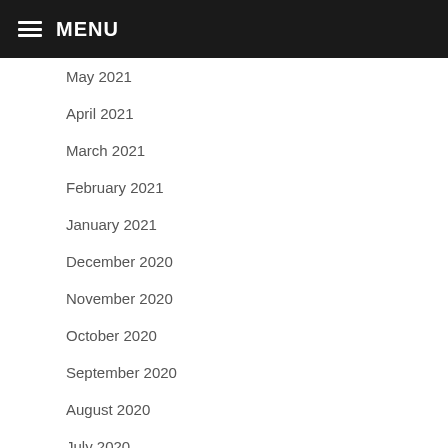MENU
May 2021
April 2021
March 2021
February 2021
January 2021
December 2020
November 2020
October 2020
September 2020
August 2020
July 2020